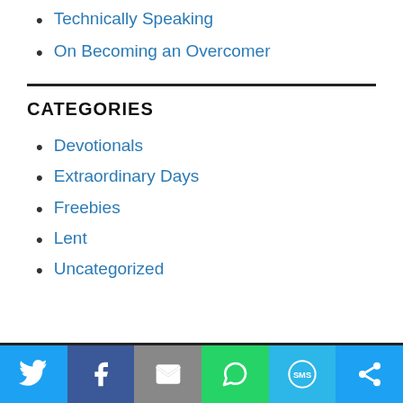Technically Speaking
On Becoming an Overcomer
CATEGORIES
Devotionals
Extraordinary Days
Freebies
Lent
Uncategorized
Social share bar: Twitter, Facebook, Email, WhatsApp, SMS, More